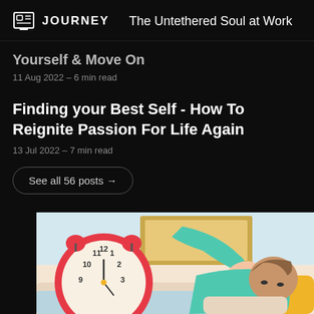JOURNEY   The Untethered Soul at Work
Yourself & Move On
11 Aug 2022 – 6 min read
Finding your Best Self - How To Reignite Passion For Life Again
13 Jul 2022 – 7 min read
See all 56 posts →
[Figure (illustration): Illustration of a person in teal shirt reaching to snooze a large red alarm clock, lying in bed with a yellow pillow, cartoon style.]